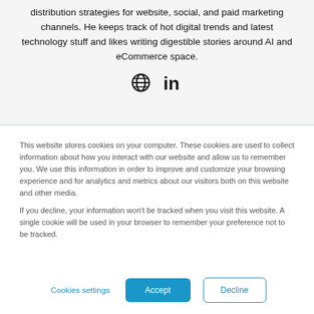distribution strategies for website, social, and paid marketing channels. He keeps track of hot digital trends and latest technology stuff and likes writing digestible stories around AI and eCommerce space.
[Figure (illustration): Globe icon and LinkedIn icon displayed as social/website links]
This website stores cookies on your computer. These cookies are used to collect information about how you interact with our website and allow us to remember you. We use this information in order to improve and customize your browsing experience and for analytics and metrics about our visitors both on this website and other media.

If you decline, your information won't be tracked when you visit this website. A single cookie will be used in your browser to remember your preference not to be tracked.
Cookies settings | Accept | Decline